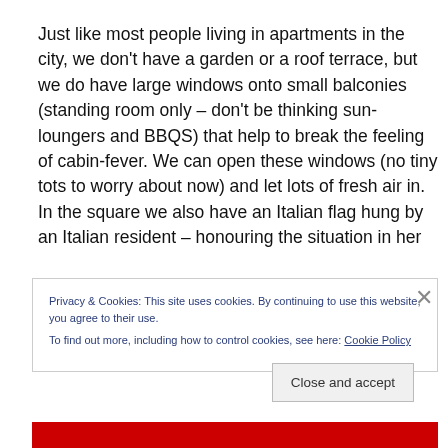Just like most people living in apartments in the city, we don't have a garden or a roof terrace, but we do have large windows onto small balconies (standing room only – don't be thinking sun-loungers and BBQS) that help to break the feeling of cabin-fever. We can open these windows (no tiny tots to worry about now) and let lots of fresh air in. In the square we also have an Italian flag hung by an Italian resident – honouring the situation in her
Privacy & Cookies: This site uses cookies. By continuing to use this website, you agree to their use.
To find out more, including how to control cookies, see here: Cookie Policy
Close and accept